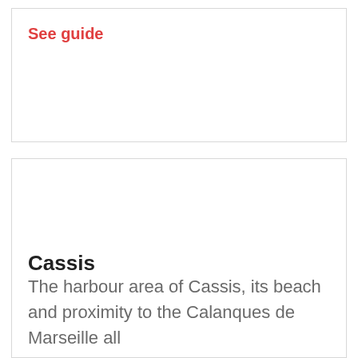See guide
Cassis
The harbour area of Cassis, its beach and proximity to the Calanques de Marseille all